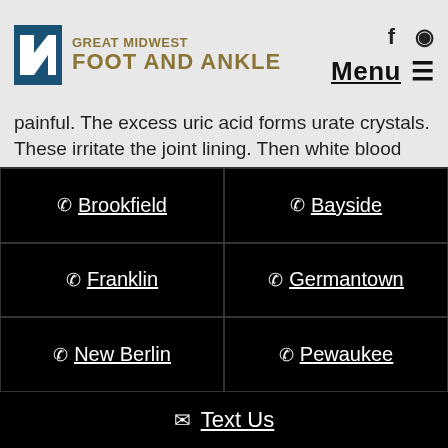[Figure (logo): Great Midwest Foot and Ankle logo with blue geometric icon and gold text]
painful. The excess uric acid forms urate crystals. These irritate the joint lining. Then white blood cells attack the crystals, but if the cells are damaged, it causes inflammation, swelling and pain.
Bunions
A bunion is a deformity of the big toe, causing it to bend inward toward its neighboring toe. The toe is
📞 Brookfield
📞 Bayside
📞 Franklin
📞 Germantown
📞 New Berlin
📞 Pewaukee
✉ Text Us